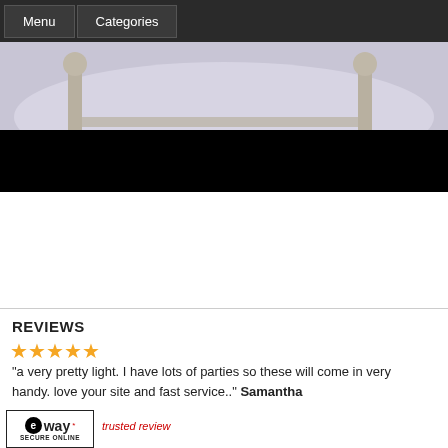Menu   Categories
[Figure (photo): Faded photo of a bed with white bedding and wooden bedposts, with a black bar below]
REVIEWS
"a very pretty light. I have lots of parties so these will come in very handy. love your site and fast service.." Samantha
[Figure (logo): eWAY Secure Online trusted payment badge]
trusted review